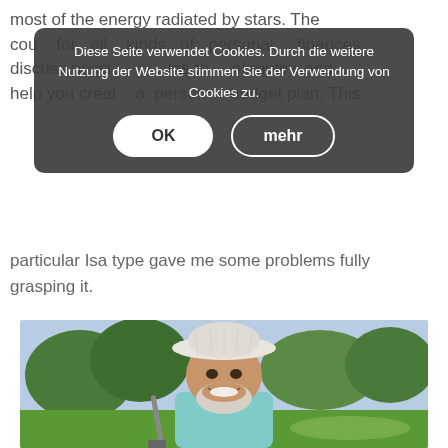most of the energy radiated by stars. The counter for all kinds of personal finances, discuss possibilities to bankruptcy, and help you create a personal budget plan. This
Diese Seite verwendet Cookies. Durch die weitere Nutzung der Website stimmen Sie der Verwendung von Cookies zu.
particular Isa type gave me some problems fully grasping it.
[Figure (photo): Smiling elderly man with white beard wearing a white wide-brimmed hat and light blue/teal shirt, outdoors at a golf course with green trees in the background.]